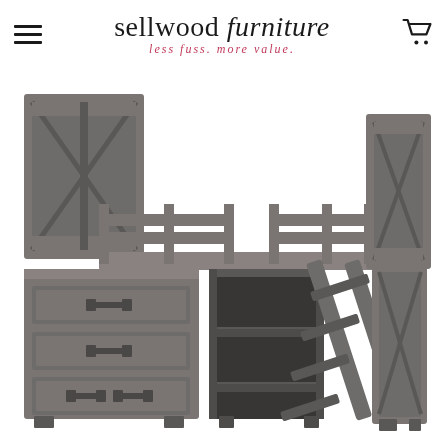sellwood furniture — less fuss. more value.
[Figure (photo): A gray/dark brown wood loft bed with barnwood-style headboard and footboard, side guard rails, a diagonal ladder on the right side, a three-drawer dresser unit on the left below the bed, and open shelving unit in the center below the bed.]